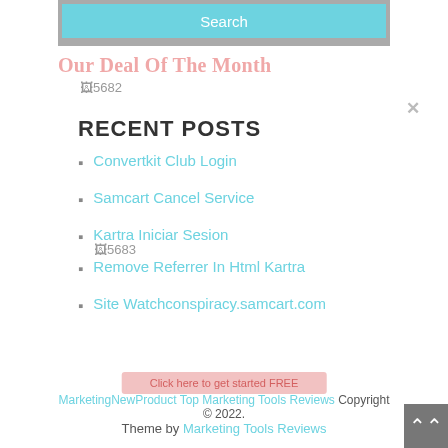[Figure (screenshot): Search button bar in light blue/cyan color]
Our Deal Of The Month
[Figure (photo): Broken image placeholder #5682]
RECENT POSTS
Convertkit Club Login
Samcart Cancel Service
Kartra Iniciar Sesion
[Figure (photo): Broken image placeholder #5683]
Remove Referrer In Html Kartra
Site Watchconspiracy.samcart.com
MarketingNewProduct Top Marketing Tools Reviews Copyright © 2022. Theme by Marketing Tools Reviews